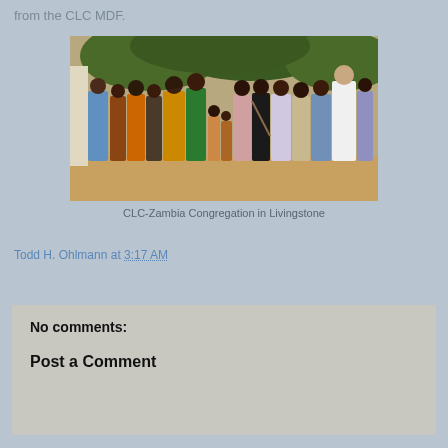from the CLC MDF.
[Figure (photo): Group photo of CLC-Zambia Congregation in Livingstone, showing approximately 20 people standing together outdoors under trees]
CLC-Zambia Congregation in Livingstone
Todd H. Ohlmann at 3:17 AM
Share
No comments:
Post a Comment